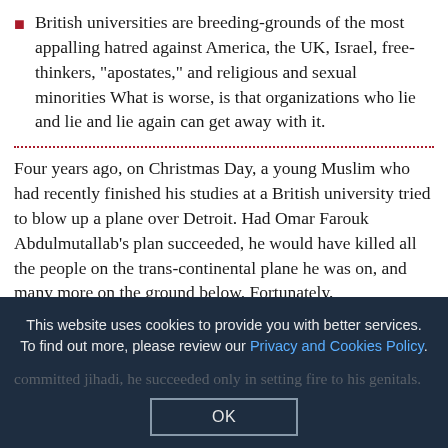British universities are breeding-grounds of the most appalling hatred against America, the UK, Israel, free-thinkers, "apostates," and religious and sexual minorities What is worse, is that organizations who lie and lie and lie again can get away with it.
Four years ago, on Christmas Day, a young Muslim who had recently finished his studies at a British university tried to blow up a plane over Detroit. Had Omar Farouk Abdulmutallab's plan succeeded, he would have killed all the people on the trans-continental plane he was on, and many more on the ground below. Fortunately, ... committed jihadi, he succeeded only in setting fire to his genitals.
This website uses cookies to provide you with better services. To find out more, please review our Privacy and Cookies Policy.